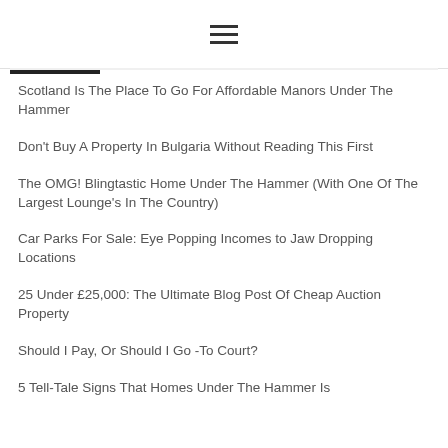☰ (hamburger menu icon)
Scotland Is The Place To Go For Affordable Manors Under The Hammer
Don't Buy A Property In Bulgaria Without Reading This First
The OMG! Blingtastic Home Under The Hammer (With One Of The Largest Lounge's In The Country)
Car Parks For Sale: Eye Popping Incomes to Jaw Dropping Locations
25 Under £25,000: The Ultimate Blog Post Of Cheap Auction Property
Should I Pay, Or Should I Go -To Court?
5 Tell-Tale Signs That Homes Under The Hammer Is